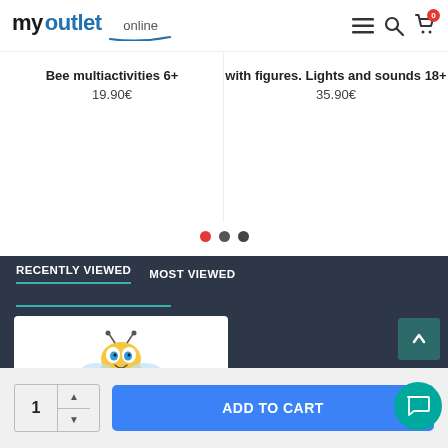myoutlet online
Bee multiactivities 6+
19.90€
with figures. Lights and sounds 18+
35.90€
RECENTLY VIEWED    MOST VIEWED
[Figure (photo): Bee multiactivities toy product photo showing a colorful stacking bee toy with orange and pink rings]
ADD TO CART